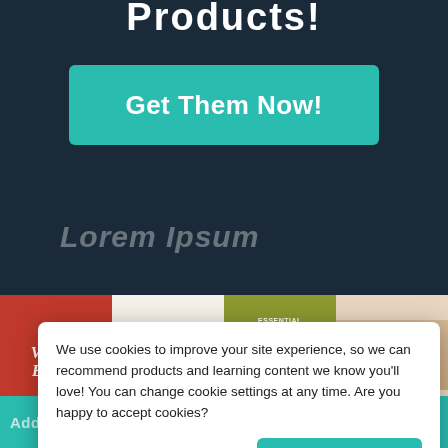Products!
Get Them Now!
Lorem Ipsum
[Figure (illustration): Row of product package thumbnails: Vintage Bundle (red background), Lunar Blossom (cream/white), Texture Pack (olive green), Vintage (tan, woman with camera)]
We use cookies to improve your site experience, so we can recommend products and learning content we know you'll love! You can change cookie settings at any time. Are you happy to accept cookies?
Manage Cookie Preferences
Yes I'm Happy
Add To Cart w/...
TOP